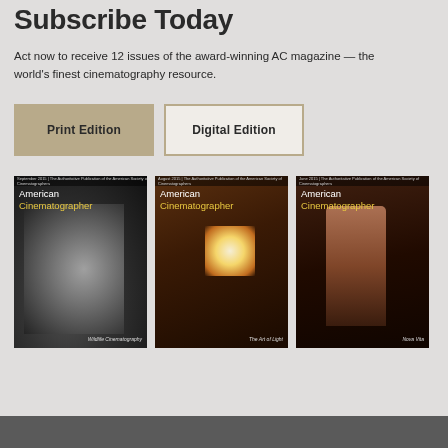Subscribe Today
Act now to receive 12 issues of the award-winning AC magazine — the world's finest cinematography resource.
[Figure (other): Two subscription buttons: 'Print Edition' (tan/khaki filled) and 'Digital Edition' (outlined with tan border)]
[Figure (photo): Three covers of American Cinematographer magazine side by side: (1) black-and-white wildlife/leopard cover labeled 'Wildlife Cinematography', (2) warm-toned cover of a girl with a light source labeled 'The Art of Light', (3) dark cover with a tattooed shirtless man labeled 'Nova Vita']